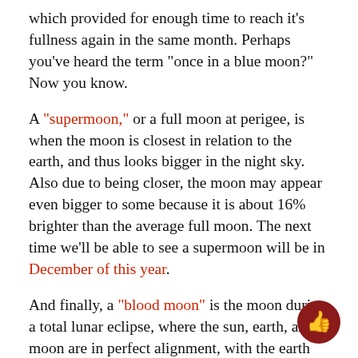which provided for enough time to reach it's fullness again in the same month. Perhaps you've heard the term "once in a blue moon?" Now you know.
A "supermoon," or a full moon at perigee, is when the moon is closest in relation to the earth, and thus looks bigger in the night sky. Also due to being closer, the moon may appear even bigger to some because it is about 16% brighter than the average full moon. The next time we'll be able to see a supermoon will be in December of this year.
And finally, a "blood moon" is the moon during a total lunar eclipse, where the sun, earth, and moon are in perfect alignment, with the earth being in between the two. Because of sunlight indirectly reaching the moon via earth's atmosphere, the moon takes on an eerie red hue, giving it the nickname of "blood moon."